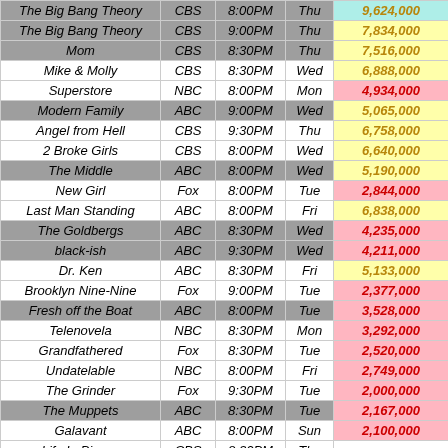| Show | Network | Time | Day | Viewers |
| --- | --- | --- | --- | --- |
| The Big Bang Theory | CBS | 8:00PM | Thu | 9,624,000 |
| The Big Bang Theory | CBS | 9:00PM | Thu | 7,834,000 |
| Mom | CBS | 8:30PM | Thu | 7,516,000 |
| Mike & Molly | CBS | 8:30PM | Wed | 6,888,000 |
| Superstore | NBC | 8:00PM | Mon | 4,934,000 |
| Modern Family | ABC | 9:00PM | Wed | 5,065,000 |
| Angel from Hell | CBS | 9:30PM | Thu | 6,758,000 |
| 2 Broke Girls | CBS | 8:00PM | Wed | 6,640,000 |
| The Middle | ABC | 8:00PM | Wed | 5,190,000 |
| New Girl | Fox | 8:00PM | Tue | 2,844,000 |
| Last Man Standing | ABC | 8:00PM | Fri | 6,838,000 |
| The Goldbergs | ABC | 8:30PM | Wed | 4,235,000 |
| black-ish | ABC | 9:30PM | Wed | 4,211,000 |
| Dr. Ken | ABC | 8:30PM | Fri | 5,133,000 |
| Brooklyn Nine-Nine | Fox | 9:00PM | Tue | 2,377,000 |
| Fresh off the Boat | ABC | 8:00PM | Tue | 3,528,000 |
| Telenovela | NBC | 8:30PM | Mon | 3,292,000 |
| Grandfathered | Fox | 8:30PM | Tue | 2,520,000 |
| Undatelable | NBC | 8:00PM | Fri | 2,749,000 |
| The Grinder | Fox | 9:30PM | Tue | 2,000,000 |
| The Muppets | ABC | 8:30PM | Tue | 2,167,000 |
| Galavant | ABC | 8:00PM | Sun | 2,100,000 |
| Life In Pieces | CBS | 8:30PM | Thu |  |